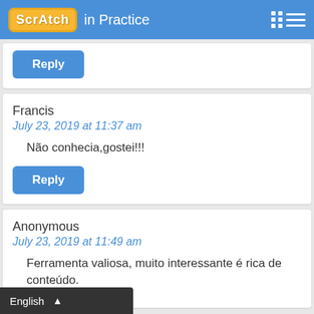Scratch in Practice
Reply
Francis
July 23, 2019 at 11:37 am
Não conhecia,gostei!!!
Reply
Anonymous
July 23, 2019 at 11:49 am
Ferramenta valiosa, muito interessante é rica de conteúdo.
English